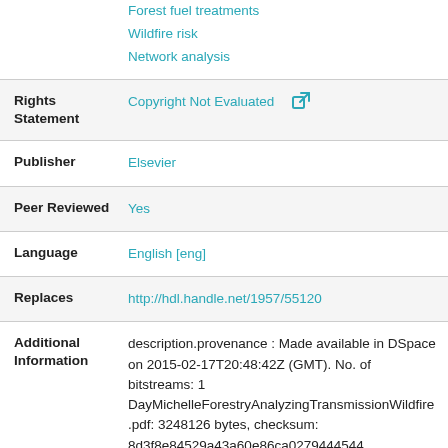Forest fuel treatments
Wildfire risk
Network analysis
Rights Statement
Copyright Not Evaluated
Publisher
Elsevier
Peer Reviewed
Yes
Language
English [eng]
Replaces
http://hdl.handle.net/1957/55120
Additional Information
description.provenance : Made available in DSpace on 2015-02-17T20:48:42Z (GMT). No. of bitstreams: 1 DayMichelleForestryAnalyzingTransmissionWildfire.pdf: 3248126 bytes, checksum: 8d3f8e84529a43a60e86ca0279444544